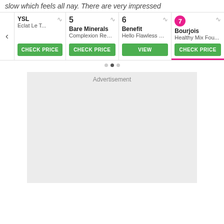slow which feels all nay. There are very impressed
[Figure (screenshot): Product carousel showing 4 product cards: YSL (Eclat Le T...) with CHECK PRICE button, Bare Minerals (#5, Complexion Resc...) with CHECK PRICE button, Benefit (#6, Hello Flawless Ox...) with VIEW button, Bourjois (#7, Healthy Mix Fou...) with CHECK PRICE button and pink underline indicator. A left navigation arrow is on the left side.]
Advertisement
[Figure (other): Grey advertisement placeholder box]